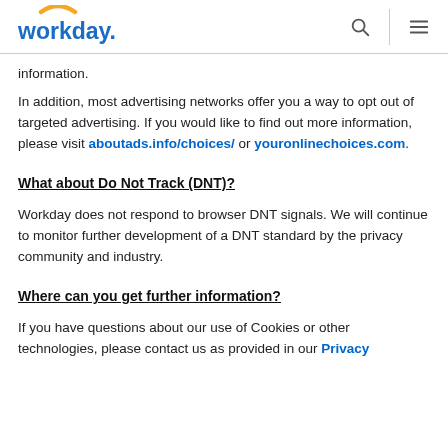workday. [search icon] [menu icon]
Information.
In addition, most advertising networks offer you a way to opt out of targeted advertising. If you would like to find out more information, please visit aboutads.info/choices/ or youronlinechoices.com.
What about Do Not Track (DNT)?
Workday does not respond to browser DNT signals. We will continue to monitor further development of a DNT standard by the privacy community and industry.
Where can you get further information?
If you have questions about our use of Cookies or other technologies, please contact us as provided in our Privacy